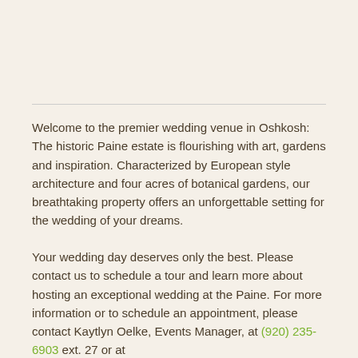Welcome to the premier wedding venue in Oshkosh: The historic Paine estate is flourishing with art, gardens and inspiration. Characterized by European style architecture and four acres of botanical gardens, our breathtaking property offers an unforgettable setting for the wedding of your dreams.
Your wedding day deserves only the best. Please contact us to schedule a tour and learn more about hosting an exceptional wedding at the Paine. For more information or to schedule an appointment, please contact Kaytlyn Oelke, Events Manager, at (920) 235-6903 ext. 27 or at